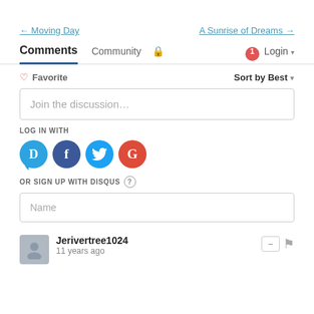← Moving Day
A Sunrise of Dreams →
Comments  Community  🔒  1  Login ▾
♡ Favorite   Sort by Best ▾
Join the discussion…
LOG IN WITH
[Figure (other): Social login icons: Disqus (D), Facebook (f), Twitter (bird), Google (G)]
OR SIGN UP WITH DISQUS ?
Name
Jerivertree1024
11 years ago